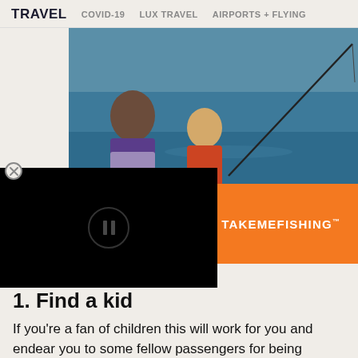TRAVEL   COVID-19   LUX TRAVEL   AIRPORTS + FLYING
[Figure (photo): Woman and young child in life jackets on a boat, child holding a fishing rod over blue water. Orange banner at bottom with TAKEMEFISHING logo.]
[Figure (screenshot): Black video player overlay with pause button icon visible]
1. Find a kid
If you're a fan of children this will work for you and endear you to some fellow passengers for being